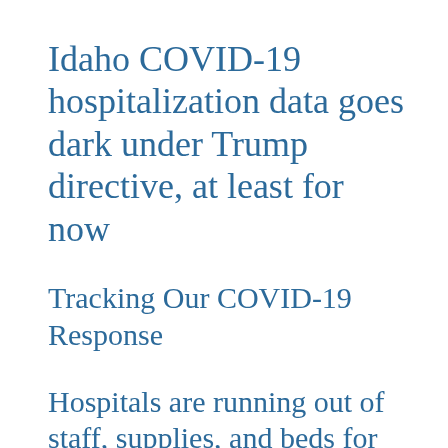Idaho COVID-19 hospitalization data goes dark under Trump directive, at least for now
Tracking Our COVID-19 Response
Hospitals are running out of staff, supplies, and beds for